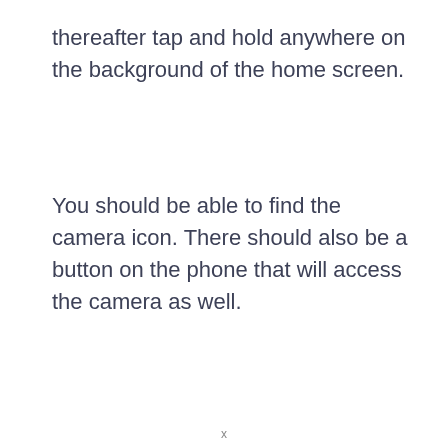thereafter tap and hold anywhere on the background of the home screen.
You should be able to find the camera icon. There should also be a button on the phone that will access the camera as well.
x